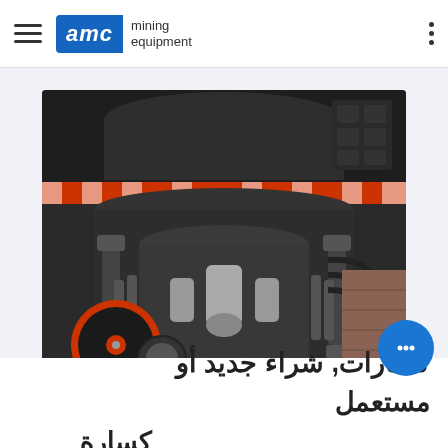AMC mining equipment
[Figure (photo): Close-up photo of a large black industrial cone crusher with orange/red accents on a horizontal ring, hydraulic cylinders, pressure accumulators, and hoses visible]
كسارات, شراء جديد أو مستعمل كسارة